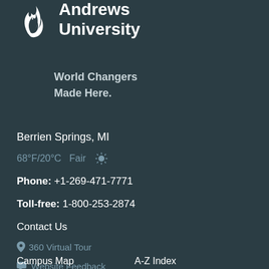[Figure (logo): Andrews University logo with flame/torch icon and university name]
World Changers
Made Here.
Berrien Springs, MI
68°F/20°C  Fair ☀
Phone: +1-269-471-7771
Toll-free: 1-800-253-2874
Contact Us
360 Virtual Tour
Website Feedback
Campus Map
A-Z Index